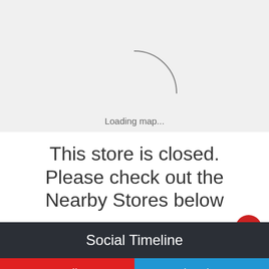[Figure (screenshot): Map loading spinner on a light gray background with a thin arc/loading indicator and 'Loading map...' text below]
This store is closed. Please check out the Nearby Stores below
Social Timeline
Call
Directions